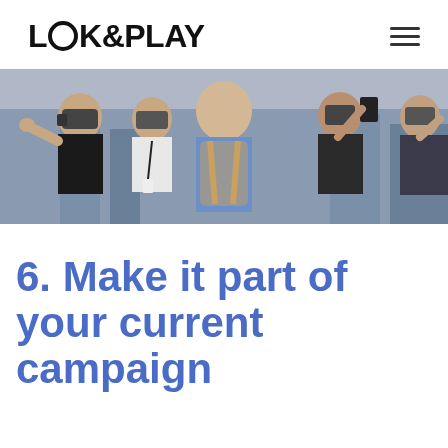LOOK&PLAY
[Figure (photo): Group of people using VR headsets and mobile devices outdoors, panoramic banner image]
6. Make it part of your current campaign
...